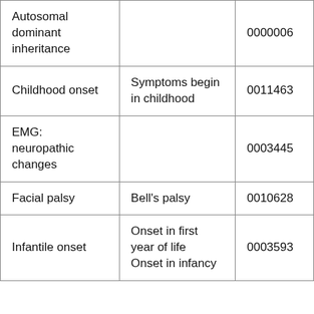| Autosomal dominant inheritance |  | 0000006 |
| Childhood onset | Symptoms begin in childhood | 0011463 |
| EMG: neuropathic changes |  | 0003445 |
| Facial palsy | Bell's palsy | 0010628 |
| Infantile onset | Onset in first year of life
Onset in infancy | 0003593 |